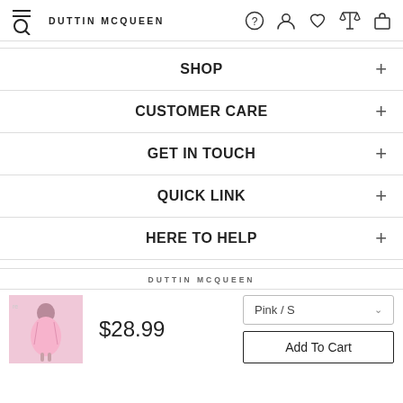DUTTIN MCQUEEN — navigation header with hamburger/search, help, account, wishlist, compare, bag icons
SHOP +
CUSTOMER CARE +
GET IN TOUCH +
QUICK LINK +
HERE TO HELP +
DUTTIN MCQUEEN
[Figure (photo): Product photo: person wearing a pink short dress]
$28.99
Pink / S
Add To Cart